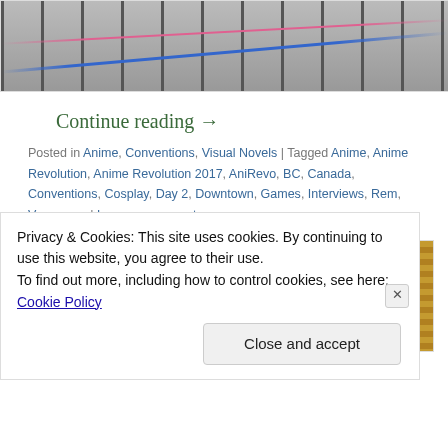[Figure (photo): Top portion of a photo showing crowd control stanchions with pink and blue ropes/ribbons in what appears to be a convention hall or public space.]
Continue reading →
Posted in Anime, Conventions, Visual Novels | Tagged Anime, Anime Revolution, Anime Revolution 2017, AniRevo, BC, Canada, Conventions, Cosplay, Day 2, Downtown, Games, Interviews, Rem, Vancouver | Leave a comment
[Figure (photo): Partial photo of a building interior showing a wooden slatted ceiling and brick wall, likely a convention centre.]
Privacy & Cookies: This site uses cookies. By continuing to use this website, you agree to their use.
To find out more, including how to control cookies, see here: Cookie Policy
Close and accept